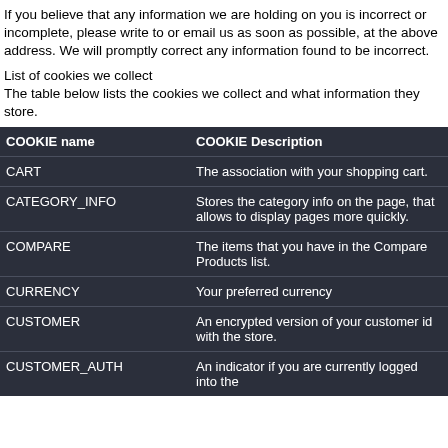If you believe that any information we are holding on you is incorrect or incomplete, please write to or email us as soon as possible, at the above address. We will promptly correct any information found to be incorrect.
List of cookies we collect
The table below lists the cookies we collect and what information they store.
| COOKIE name | COOKIE Description |
| --- | --- |
| CART | The association with your shopping cart. |
| CATEGORY_INFO | Stores the category info on the page, that allows to display pages more quickly. |
| COMPARE | The items that you have in the Compare Products list. |
| CURRENCY | Your preferred currency |
| CUSTOMER | An encrypted version of your customer id with the store. |
| CUSTOMER_AUTH | An indicator if you are currently logged into the |